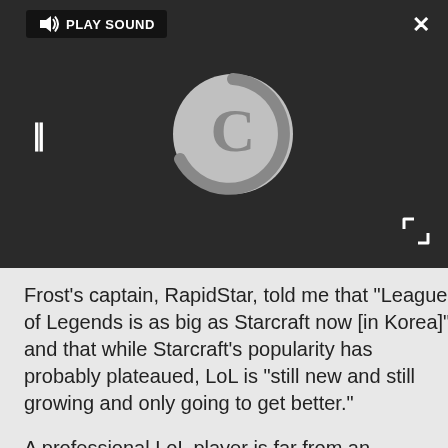[Figure (screenshot): Video player with dark background showing a loading spinner (large C-shaped arc in light gray circle), pause button (II), play sound button in top left, close (X) button in top right, and fullscreen icon in bottom right.]
Frost's captain, RapidStar, told me that "League of Legends is as big as Starcraft now [in Korea]" and that while Starcraft's popularity has probably plateaued, LoL is "still new and still growing and only going to get better."
A professional LoL player is far from an unbiased source, but Riot's numbers certainly seem to back up RapidStar's claim.
Josh Augustine spends more time playing MMOs and MOBAs than most people spend sleeping. He's